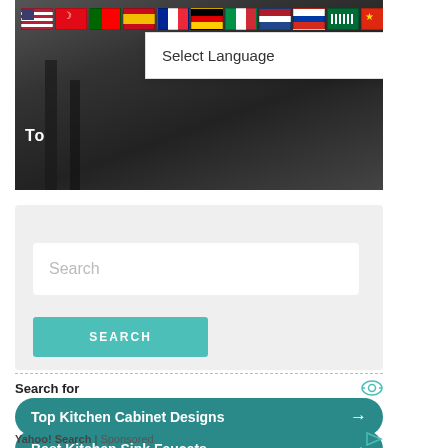[Figure (screenshot): Website screenshot showing a hero image with dark background and partial text 'To' visible, with a row of country flags at top and a language selector dropdown showing 'Select Language']
Select Language
[Figure (screenshot): Search widget with a text input showing placeholder 'Search' and a teal SEARCH button]
Search for
Top Kitchen Cabinet Designs →
Best Kitchen Sink Faucets →
Yahoo! Search | Sponsored